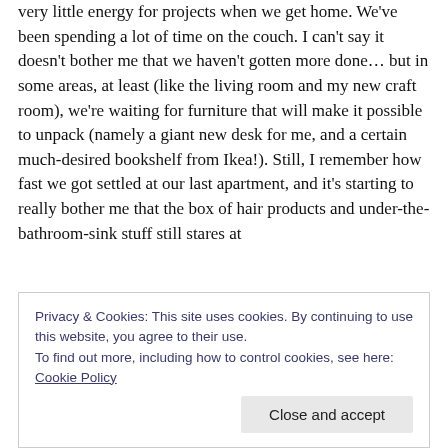commutes have been wearing on us, and have left us with very little energy for projects when we get home. We've been spending a lot of time on the couch. I can't say it doesn't bother me that we haven't gotten more done… but in some areas, at least (like the living room and my new craft room), we're waiting for furniture that will make it possible to unpack (namely a giant new desk for me, and a certain much-desired bookshelf from Ikea!). Still, I remember how fast we got settled at our last apartment, and it's starting to really bother me that the box of hair products and under-the-bathroom-sink stuff still stares at
Privacy & Cookies: This site uses cookies. By continuing to use this website, you agree to their use.
To find out more, including how to control cookies, see here: Cookie Policy
Close and accept